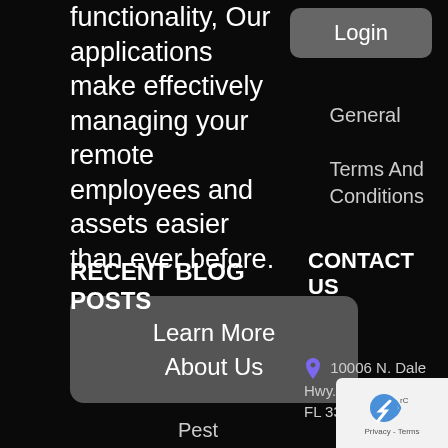functionality, Our applications make effectively managing your remote employees and assets easier than ever before.
Login
General
Terms And Conditions
Learn More About Us
RECENT BLOG POSTS
CONTACT US
Pest
10006 N. Dale Hwy. Suite 100 Ta... FL 33618